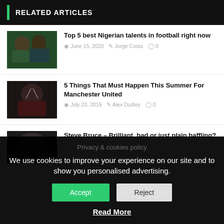RELATED ARTICLES
Top 5 best Nigerian talents in football right now
June 15, 2020  Jorge Costa  0
5 Things That Must Happen This Summer For Manchester United
July 23, 2019  Alex Dudley  0
Steve Bruce – Brilliant, bad or just plain baffling?
Privacy & cookies policy
We use cookies to improve your experience on our site and to show you personalised advertising.
Accept
Reject
Read More